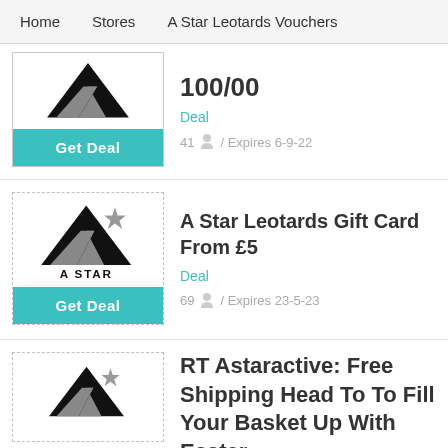Home   Stores   A Star Leotards Vouchers
[Figure (logo): A Star Leotards logo with Get Deal button]
100/00
Deal
41 / Expires 6-9-22
[Figure (logo): A Star Leotards logo with Get Deal button]
A Star Leotards Gift Card From £5
Deal
69 / Expires 23-5-23
[Figure (logo): A Star Leotards logo partial]
RT Astaractive: Free Shipping Head To To Fill Your Basket Up With Easter